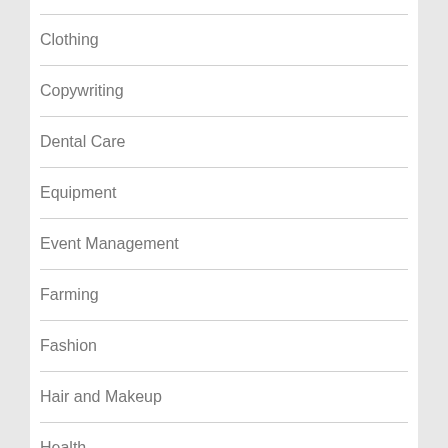Clothing
Copywriting
Dental Care
Equipment
Event Management
Farming
Fashion
Hair and Makeup
Health
Home